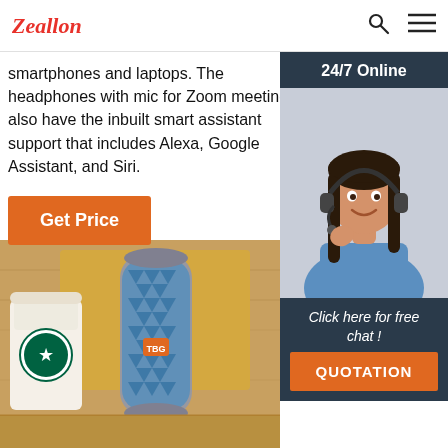Zeallon
smartphones and laptops. The headphones with mic for Zoom meetings also have the inbuilt smart assistant support that includes Alexa, Google Assistant, and Siri.
Get Price
[Figure (photo): Customer service agent woman wearing headset, with '24/7 Online' header bar and 'Click here for free chat!' text and QUOTATION button below]
[Figure (photo): TBG branded cylindrical Bluetooth speaker with blue geometric triangle pattern, placed on a wooden table next to a Starbucks coffee cup]